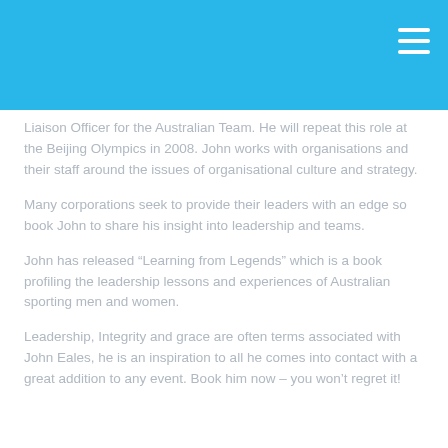Liaison Officer for the Australian Team. He will repeat this role at the Beijing Olympics in 2008. John works with organisations and their staff around the issues of organisational culture and strategy.
Many corporations seek to provide their leaders with an edge so book John to share his insight into leadership and teams.
John has released “Learning from Legends” which is a book profiling the leadership lessons and experiences of Australian sporting men and women.
Leadership, Integrity and grace are often terms associated with John Eales, he is an inspiration to all he comes into contact with a great addition to any event. Book him now – you won’t regret it!